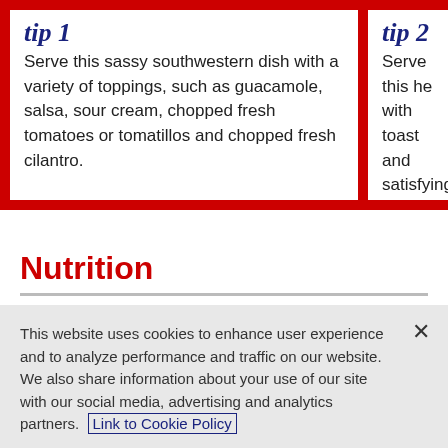tip 1 — Serve this sassy southwestern dish with a variety of toppings, such as guacamole, salsa, sour cream, chopped fresh tomatoes or tomatillos and chopped fresh cilantro.
tip 2 — Serve this hea... with toast and... satisfying bre...
Nutrition
This website uses cookies to enhance user experience and to analyze performance and traffic on our website. We also share information about your use of our site with our social media, advertising and analytics partners. Link to Cookie Policy
Customize Settings
Accept All Cookies